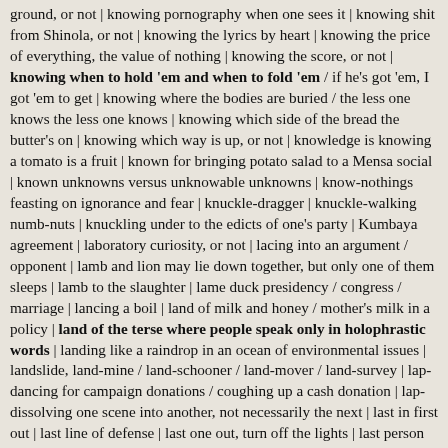ground, or not | knowing pornography when one sees it | knowing shit from Shinola, or not | knowing the lyrics by heart | knowing the price of everything, the value of nothing | knowing the score, or not | knowing when to hold 'em and when to fold 'em / if he's got 'em, I got 'em to get | knowing where the bodies are buried / the less one knows the less one knows | knowing which side of the bread the butter's on | knowing which way is up, or not | knowledge is knowing a tomato is a fruit | known for bringing potato salad to a Mensa social | known unknowns versus unknowable unknowns | know-nothings feasting on ignorance and fear | knuckle-dragger | knuckle-walking numb-nuts | knuckling under to the edicts of one's party | Kumbaya agreement | laboratory curiosity, or not | lacing into an argument / opponent | lamb and lion may lie down together, but only one of them sleeps | lamb to the slaughter | lame duck presidency / congress / marriage | lancing a boil | land of milk and honey / mother's milk in a policy | land of the terse where people speak only in holophrastic words | landing like a raindrop in an ocean of environmental issues | landslide, land-mine / land-schooner / land-mover / land-survey | lap-dancing for campaign donations / coughing up a cash donation | lap-dissolving one scene into another, not necessarily the next | last in first out | last line of defense | last one out, turn off the lights | last person standing can now sit down | last will and testament, or not | latch-key kids | latest transistor radio in one's pocket | laughing all the way to the bank | laughingstock / giggling sincerity | laughing stock | laughing out loud | laughing on the outside